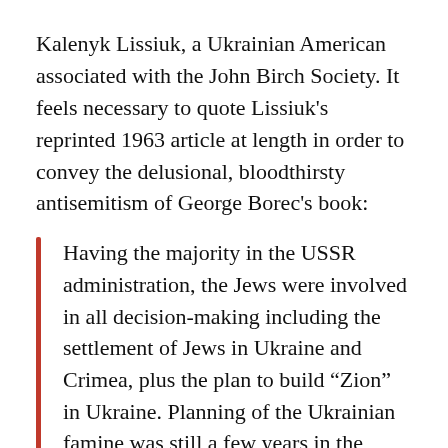Kalenyk Lissiuk, a Ukrainian American associated with the John Birch Society. It feels necessary to quote Lissiuk's reprinted 1963 article at length in order to convey the delusional, bloodthirsty antisemitism of George Borec's book:
Having the majority in the USSR administration, the Jews were involved in all decision-making including the settlement of Jews in Ukraine and Crimea, plus the plan to build “Zion” in Ukraine. Planning of the Ukrainian famine was still a few years in the future… The Jewish farmers were warned in advance and they left their homesteads moving to the nearby cities and villages. The Jewish population did not starve as the warning enabled them to store food in anticipation. In 1933 the majority of European and American press, controlled by the Jews, were silent